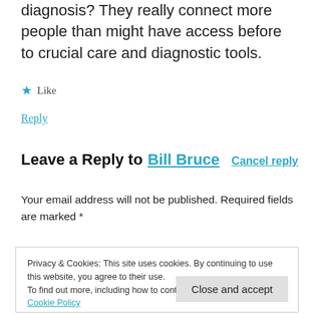diagnosis? They really connect more people than might have access before to crucial care and diagnostic tools.
★ Like
Reply
Leave a Reply to Bill Bruce  Cancel reply
Your email address will not be published. Required fields are marked *
Privacy & Cookies: This site uses cookies. By continuing to use this website, you agree to their use.
To find out more, including how to control cookies, see here: Cookie Policy
Close and accept